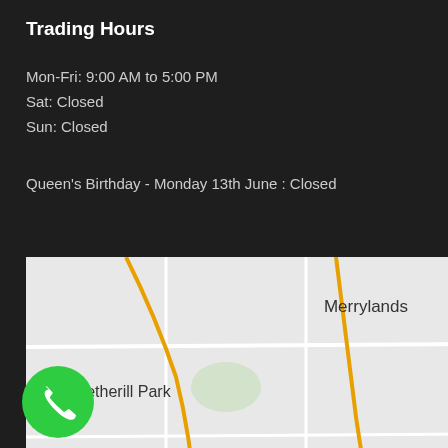Trading Hours
Mon-Fri: 9:00 AM to 5:00 PM
Sat: Closed
Sun: Closed
Queen's Birthday - Monday 13th June : Closed
[Figure (map): Google Maps view showing western Sydney suburbs including Merrylands, Auburn, Wetherill Park, Prairiewood, Fairfield, Cabramatta, Bankstown, and road labels M4, A3, A6, A22, A34]